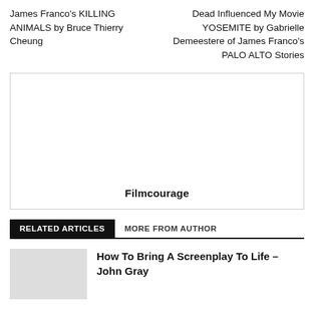James Franco's KILLING ANIMALS by Bruce Thierry Cheung
Dead Influenced My Movie YOSEMITE by Gabrielle Demeestere of James Franco's PALO ALTO Stories
[Figure (other): Advertisement box with label 'Filmcourage' centered at the bottom]
RELATED ARTICLES
MORE FROM AUTHOR
How To Bring A Screenplay To Life – John Gray